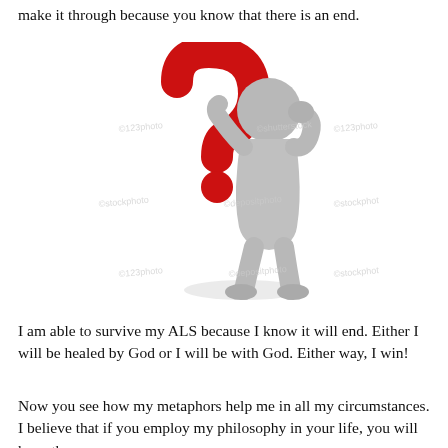make it through because you know that there is an end.
[Figure (illustration): 3D rendered figure of a grey humanoid character leaning against a large red question mark, with hand raised to face in a thinking pose. Stock photo watermarks visible across the image.]
I am able to survive my ALS because I know it will end. Either I will be healed by God or I will be with God. Either way, I win!
Now you see how my metaphors help me in all my circumstances. I believe that if you employ my philosophy in your life, you will have the